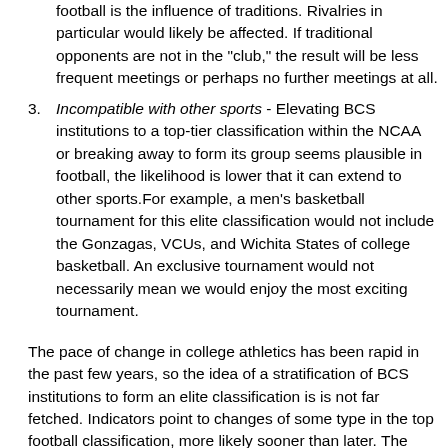football is the influence of traditions. Rivalries in particular would likely be affected. If traditional opponents are not in the "club," the result will be less frequent meetings or perhaps no further meetings at all.
Incompatible with other sports - Elevating BCS institutions to a top-tier classification within the NCAA or breaking away to form its group seems plausible in football, the likelihood is lower that it can extend to other sports.For example, a men's basketball tournament for this elite classification would not include the Gonzagas, VCUs, and Wichita States of college basketball. An exclusive tournament would not necessarily mean we would enjoy the most exciting tournament.
The pace of change in college athletics has been rapid in the past few years, so the idea of a stratification of BCS institutions to form an elite classification is is not far fetched. Indicators point to changes of some type in the top football classification, more likely sooner than later. The scope of change and the role the NCAA has in a newly formed